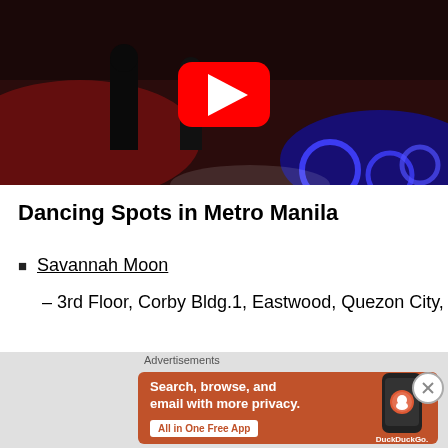[Figure (screenshot): YouTube video thumbnail showing a dark nightclub dance floor with red and blue lighting, with a YouTube play button overlay in the center.]
Dancing Spots in Metro Manila
Savannah Moon
– 3rd Floor, Corby Bldg.1, Eastwood, Quezon City,
[Figure (screenshot): DuckDuckGo advertisement with orange background. Text: 'Search, browse, and email with more privacy. All in One Free App' with a phone image showing DuckDuckGo logo.]